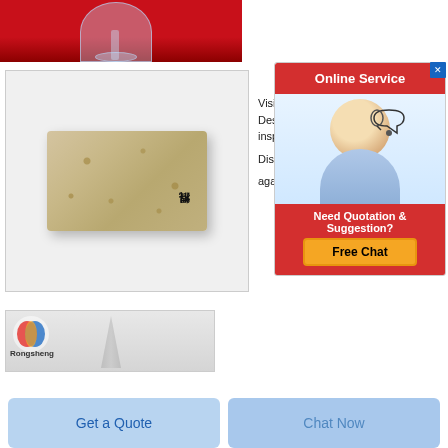[Figure (photo): Partial photo of a glass on a red background, cropped at top]
[Figure (photo): Photo of a tan/cream colored refractory brick with Chinese characters handwritten on it, on light gray background]
Visi
Des
insp

Disco

again
[Figure (other): Online Service advertisement with customer service representative photo, 'Need Quotation & Suggestion? Free Chat' button area]
[Figure (photo): Partial product photo with Rongsheng logo and a gray cone-shaped refractory material]
Get a Quote
Chat Now